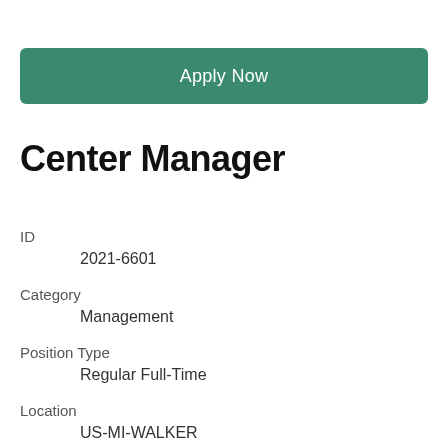Apply Now
Center Manager
ID
2021-6601
Category
Management
Position Type
Regular Full-Time
Location
US-MI-WALKER